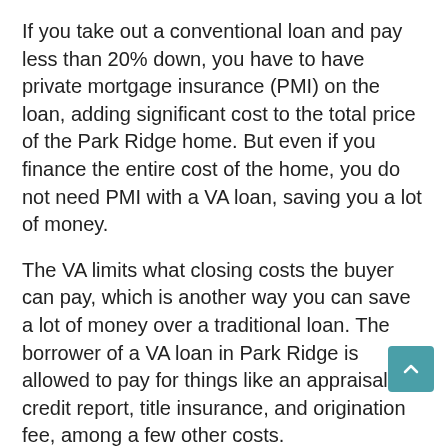If you take out a conventional loan and pay less than 20% down, you have to have private mortgage insurance (PMI) on the loan, adding significant cost to the total price of the Park Ridge home. But even if you finance the entire cost of the home, you do not need PMI with a VA loan, saving you a lot of money.
The VA limits what closing costs the buyer can pay, which is another way you can save a lot of money over a traditional loan. The borrower of a VA loan in Park Ridge is allowed to pay for things like an appraisal, credit report, title insurance, and origination fee, among a few other costs.
There are some necessary fees that the veteran is not allowed to pay for, like escrow, processing, and underwriting (among others).